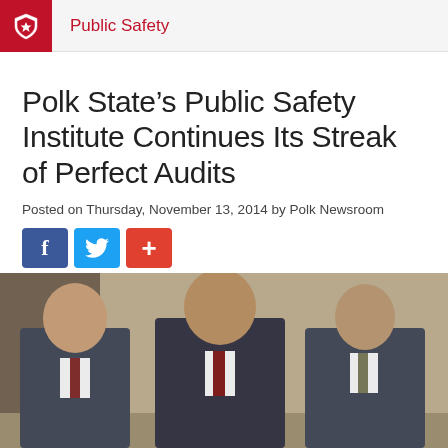Public Safety
Polk State's Public Safety Institute Continues Its Streak of Perfect Audits
Posted on Thursday, November 13, 2014 by Polk Newsroom
[Figure (photo): Three men in suits standing together for a photo indoors]
[Figure (infographic): Social media sharing buttons: Facebook (f), Twitter (bird), and Google+ (+)]